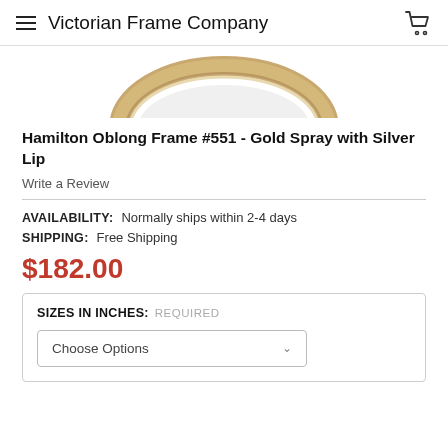Victorian Frame Company
[Figure (photo): Partial view of an oval picture frame in gold/tan color with silver lip, shown from above, cropped at top of page]
Hamilton Oblong Frame #551 - Gold Spray with Silver Lip
Write a Review
AVAILABILITY: Normally ships within 2-4 days
SHIPPING: Free Shipping
$182.00
SIZES IN INCHES: REQUIRED
Choose Options